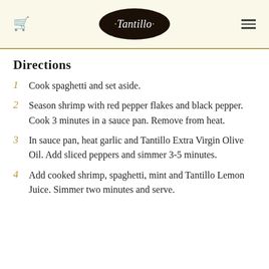Tantillo
Directions
Cook spaghetti and set aside.
Season shrimp with red pepper flakes and black pepper. Cook 3 minutes in a sauce pan. Remove from heat.
In sauce pan, heat garlic and Tantillo Extra Virgin Olive Oil. Add sliced peppers and simmer 3-5 minutes.
Add cooked shrimp, spaghetti, mint and Tantillo Lemon Juice. Simmer two minutes and serve.